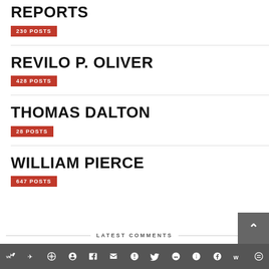REPORTS
230 POSTS
REVILO P. OLIVER
428 POSTS
THOMAS DALTON
28 POSTS
WILLIAM PIERCE
647 POSTS
LATEST COMMENTS
Social share bar with icons: VK, Telegram, Reddit, WordPress, WhatsApp, Email, Buffer, Twitter, Facebook, Instagram, Pinterest, Tumblr, LinkedIn, Gift, Wattpad, Share